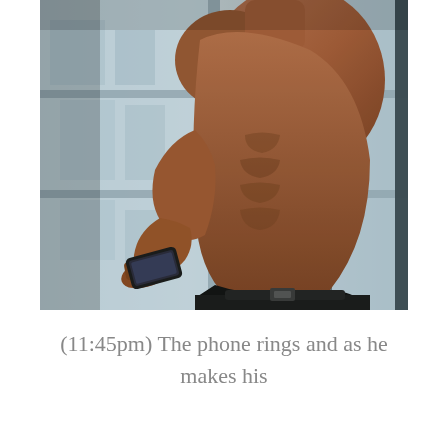[Figure (photo): A shirtless muscular man viewed from the side, holding a smartphone and looking down at it, standing in front of a large window with a city building visible in the background. The photo is in a slightly desaturated, atmospheric style.]
(11:45pm) The phone rings and as he makes his